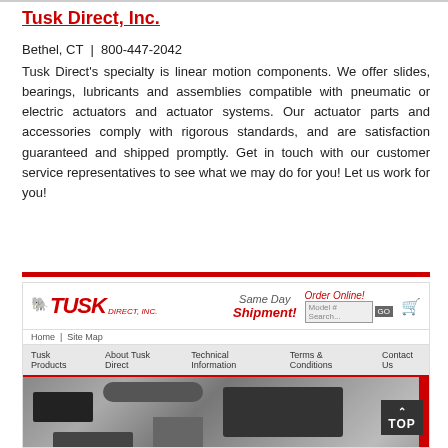Tusk Direct, Inc.
Bethel, CT | 800-447-2042
Tusk Direct's specialty is linear motion components. We offer slides, bearings, lubricants and assemblies compatible with pneumatic or electric actuators and actuator systems. Our actuator parts and accessories comply with rigorous standards, and are satisfaction guaranteed and shipped promptly. Get in touch with our customer service representatives to see what we may do for you! Let us work for you!
[Figure (screenshot): Screenshot of Tusk Direct, Inc. website showing the company logo, navigation menu with Home, Site Map links, Same Day Shipment tagline, Order Online section with search box, shopping cart icon, and navigation bar with Tusk Products, About Tusk Direct, Technical Information, Terms & Conditions, Contact Us. Below the nav is a product image showing various linear motion components in black on a light background with a red side bar.]